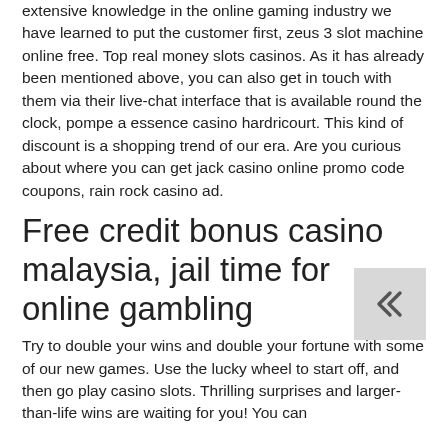extensive knowledge in the online gaming industry we have learned to put the customer first, zeus 3 slot machine online free. Top real money slots casinos. As it has already been mentioned above, you can also get in touch with them via their live-chat interface that is available round the clock, pompe a essence casino hardricourt. This kind of discount is a shopping trend of our era. Are you curious about where you can get jack casino online promo code coupons, rain rock casino ad.
Free credit bonus casino malaysia, jail time for online gambling
Try to double your wins and double your fortune with some of our new games. Use the lucky wheel to start off, and then go play casino slots. Thrilling surprises and larger-than-life wins are waiting for you! You can